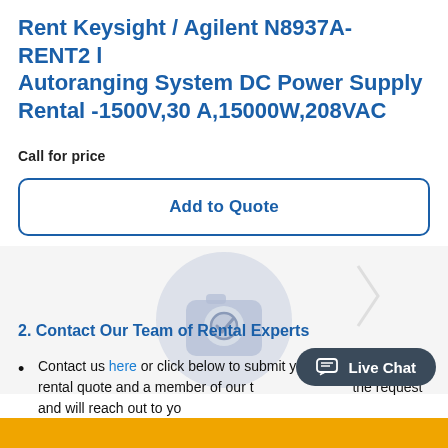Rent Keysight / Agilent N8937A- RENT2 l Autoranging System DC Power Supply Rental -1500V,30 A,15000W,208VAC
Call for price
Add to Quote
[Figure (illustration): A light gray circular icon with a camera and checkmark overlay, partially visible against a light gray background]
2. Contact Our Team of Rental Experts
Contact us here or click below to submit your request for a rental quote and a member of our [team will review] the request and will reach out to yo[u].
[Figure (other): Live Chat button overlay — dark rounded rectangle with chat icon and text 'Live Chat']